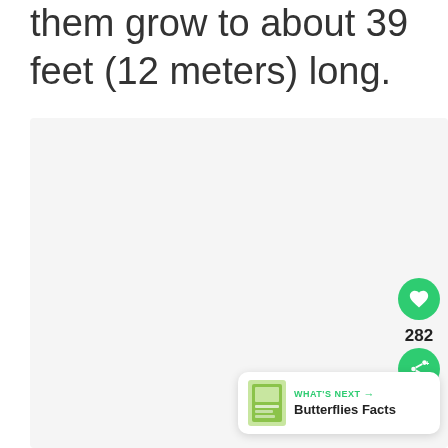them grow to about 39 feet (12 meters) long.
[Figure (photo): Large light gray image placeholder area occupying most of the lower page]
282
WHAT'S NEXT → Butterflies Facts